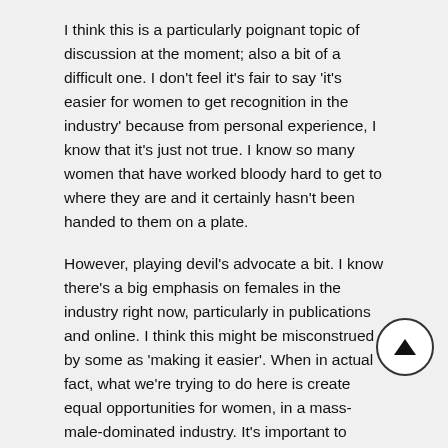I think this is a particularly poignant topic of discussion at the moment; also a bit of a difficult one. I don't feel it's fair to say 'it's easier for women to get recognition in the industry' because from personal experience, I know that it's just not true. I know so many women that have worked bloody hard to get to where they are and it certainly hasn't been handed to them on a plate.
However, playing devil's advocate a bit. I know there's a big emphasis on females in the industry right now, particularly in publications and online. I think this might be misconstrued by some as 'making it easier'. When in actual fact, what we're trying to do here is create equal opportunities for women, in a mass-male-dominated industry. It's important to encourage more women into the scene and if celebrating iconic women in music is the way forward, then I think that's pretty important.